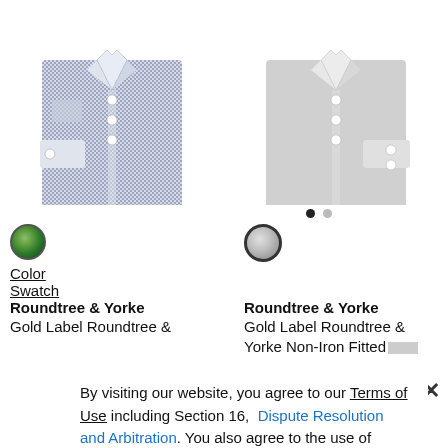[Figure (photo): Folded dress shirt with blue/white houndstooth or mini-check pattern, showing collar and cuffs, left product]
[Figure (photo): Folded dress shirt in solid light grey, showing collar and cuffs, right product]
Color
Swatch
Roundtree & Yorke Gold Label Roundtree &
Roundtree & Yorke Gold Label Roundtree & Yorke Non-Iron Fitted
By visiting our website, you agree to our Terms of Use including Section 16, Dispute Resolution and Arbitration. You also agree to the use of tracking technologies, such as cookies, to improve site functionality, personalize site content, analyze site traffic, advertise on other sites and record how you interact with our site. You can adjust how certain technologies are used on our site through Cookie Settings